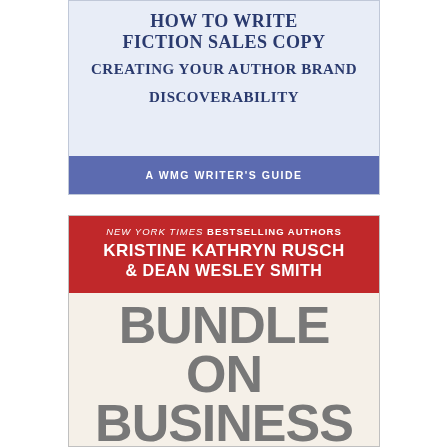[Figure (illustration): Top book cover with light blue background showing titles: HOW TO WRITE FICTION SALES COPY, CREATING YOUR AUTHOR BRAND, DISCOVERABILITY, with a blue band at bottom reading A WMG WRITER'S GUIDE]
[Figure (illustration): Bottom book cover showing red band with NEW YORK TIMES BESTSELLING AUTHORS KRISTINE KATHRYN RUSCH & DEAN WESLEY SMITH, then cream section with BUNDLE ON BUSINESS in large gray text, and Includes at the bottom]